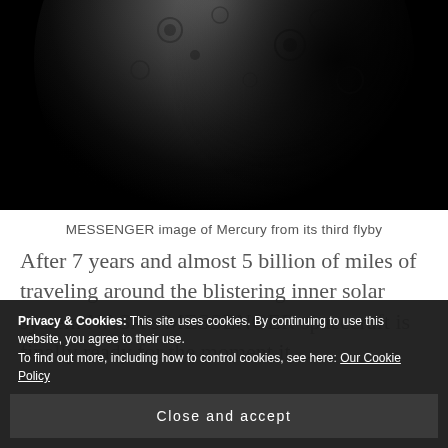[Figure (photo): Grayscale photograph of Mercury showing a crescent portion of the planet against a black background, taken by the MESSENGER spacecraft during its third flyby. The planet's cratered surface is visible on the illuminated portion.]
MESSENGER image of Mercury from its third flyby
After 7 years and almost 5 billion of miles of traveling around the blistering inner solar system NASA’s MESSENGER spacecraft is finally ready for the moment it…
Privacy & Cookies: This site uses cookies. By continuing to use this website, you agree to their use.
To find out more, including how to control cookies, see here: Our Cookie Policy
Close and accept